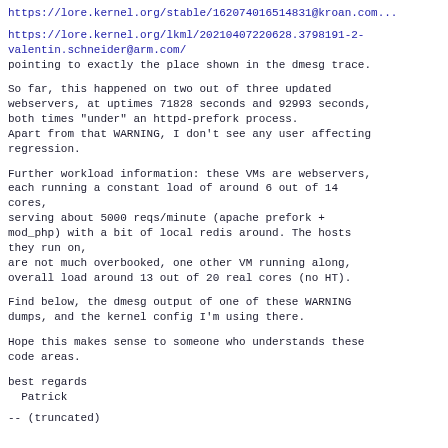https://lore.kernel.org/stable/162074016514831@kroan.com...
https://lore.kernel.org/lkml/20210407220628.3798191-2-valentin.schneider@arm.com/
pointing to exactly the place shown in the dmesg trace.
So far, this happened on two out of three updated webservers, at uptimes 71828 seconds and 92993 seconds, both times "under" an httpd-prefork process.
Apart from that WARNING, I don't see any user affecting regression.
Further workload information: these VMs are webservers, each running a constant load of around 6 out of 14 cores,
serving about 5000 reqs/minute (apache prefork + mod_php) with a bit of local redis around. The hosts they run on,
are not much overbooked, one other VM running along, overall load around 13 out of 20 real cores (no HT).
Find below, the dmesg output of one of these WARNING dumps, and the kernel config I'm using there.
Hope this makes sense to someone who understands these code areas.
best regards
  Patrick
-- (truncated)